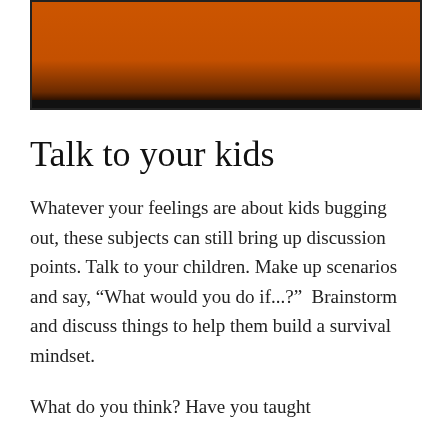[Figure (photo): Cropped bottom edge of a photo showing an orange background, likely a wall or surface, with a dark bottom strip.]
Talk to your kids
Whatever your feelings are about kids bugging out, these subjects can still bring up discussion points. Talk to your children. Make up scenarios and say, “What would you do if...?”  Brainstorm and discuss things to help them build a survival mindset.
What do you think? Have you taught